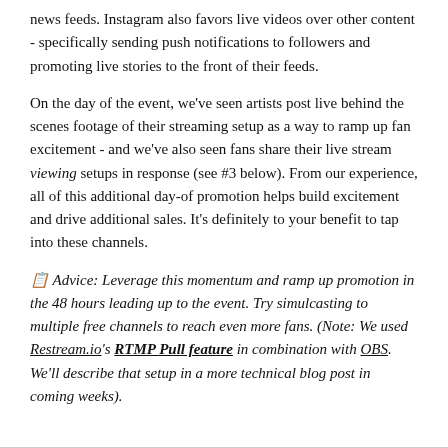news feeds.  Instagram also favors live videos over other content - specifically sending push notifications to followers and promoting live stories to the front of their feeds.
On the day of the event, we've seen artists post live behind the scenes footage of their streaming setup as a way to ramp up fan excitement - and we've also seen fans share their live stream viewing setups in response (see #3 below).  From our experience, all of this additional day-of promotion helps build excitement and drive additional sales. It's definitely to your benefit to tap into these channels.
🔲 Advice: Leverage this momentum and ramp up promotion in the 48 hours leading up to the event.  Try simulcasting to multiple free channels to reach even more fans. (Note: We used Restream.io's RTMP Pull feature in combination with OBS.  We'll describe that setup in a more technical blog post in coming weeks).